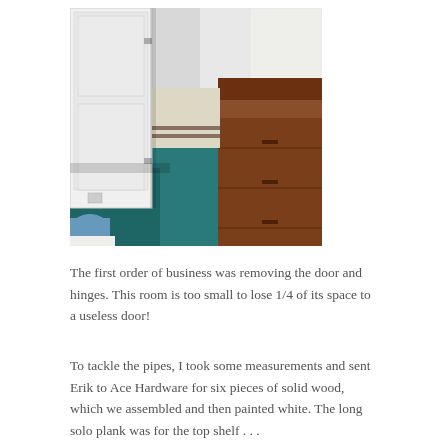[Figure (photo): Interior photo of a small room with a white door/closet on the left, teal/dark blue carpet floor, a wooden dresser or furniture piece on the right, and some items (folded fabric, pipes or rods) visible in the background.]
The first order of business was removing the door and hinges. This room is too small to lose 1/4 of its space to a useless door!
To tackle the pipes, I took some measurements and sent Erik to Ace Hardware for six pieces of solid wood, which we assembled and then painted white. The long solo plank was for the top shelf . . .